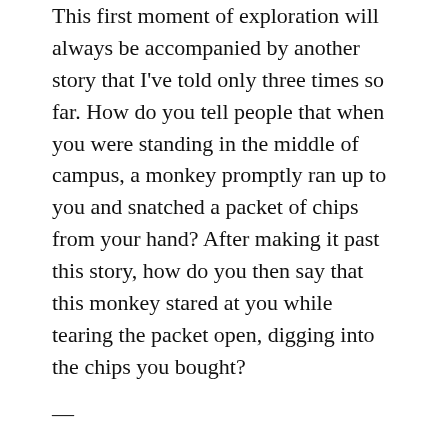This first moment of exploration will always be accompanied by another story that I've told only three times so far. How do you tell people that when you were standing in the middle of campus, a monkey promptly ran up to you and snatched a packet of chips from your hand? After making it past this story, how do you then say that this monkey stared at you while tearing the packet open, digging into the chips you bought?
—
My association with Delhi has been brief, but also not. I've spent almost every summer of my life here. Whenever I went back to school after the holidays, I told my friends about the city with great enthusiasm. I made it out to be an unachievable land in which only happiness and good street food exists. I told them how my entire family would go to Greater Kailash and have